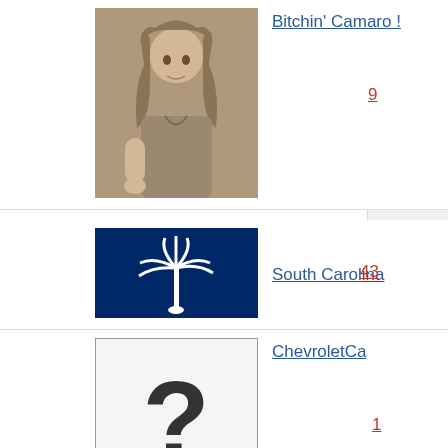[Figure (photo): Man with mullet hairstyle, profile photo for 'Bitchin Camaro' group]
Bitchin' Camaro !
9
[Figure (photo): South Carolina state flag — blue background with white palmetto tree and crescent moon]
South Carolina
43
[Figure (other): White box with large question mark — placeholder image for ChevroletCa group]
ChevroletCa
1
[Figure (photo): Yellow Camaro car parked in lot]
Yellow Camaro Club
We are "the swarm" !!!!! This group is for all people who own yellow camaros of any kind- yellow, yellow with stripes, transformer editions, bumblebee look alikes, old camaros, new camaros, ect.. It just has to be yellow. We can discuss many things for example meetings, paint & detailing issues, mods, performance, general car issues, whatever, ect.. Things the other color camaro owners might not understand. We won't descriminate against you if you have a V-6 or a Bumblebee. We understand what it is like to own a yellow camaro, and unless
426